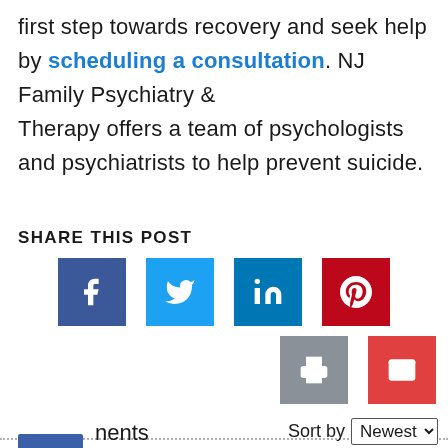first step towards recovery and seek help by scheduling a consultation. NJ Family Psychiatry & Therapy offers a team of psychologists and psychiatrists to help prevent suicide.
SHARE THIS POST
[Figure (infographic): Social share buttons: Facebook (dark blue), Twitter (light blue), LinkedIn (medium blue), Pinterest (dark red), Print (gray), Email (red)]
nents
Sort by Newest